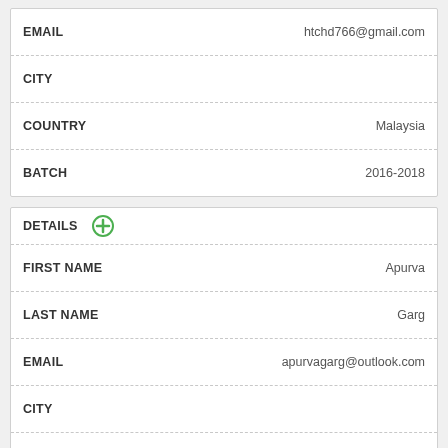| Field | Value |
| --- | --- |
| EMAIL | htchd766@gmail.com |
| CITY |  |
| COUNTRY | Malaysia |
| BATCH | 2016-2018 |
| Field | Value |
| --- | --- |
| DETAILS | + |
| FIRST NAME | Apurva |
| LAST NAME | Garg |
| EMAIL | apurvagarg@outlook.com |
| CITY |  |
| COUNTRY |  |
| BATCH | 2015-2017 |
| Field | Value |
| --- | --- |
| DETAILS | + |
| FIRST NAME | Arild Andre |
| LAST NAME | Osthus |